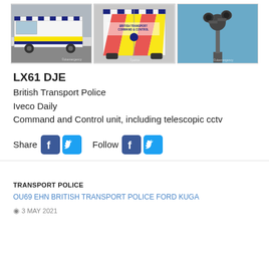[Figure (photo): Three photos: two police Command and Control vans (Iveco Daily) with British Transport Police markings and yellow/blue/red chevrons, and a telescopic CCTV camera unit against a blue sky.]
LX61 DJE
British Transport Police
Iveco Daily
Command and Control unit, including telescopic cctv
Share   Follow
TRANSPORT POLICE
OU69 EHN BRITISH TRANSPORT POLICE FORD KUGA
3 MAY 2021